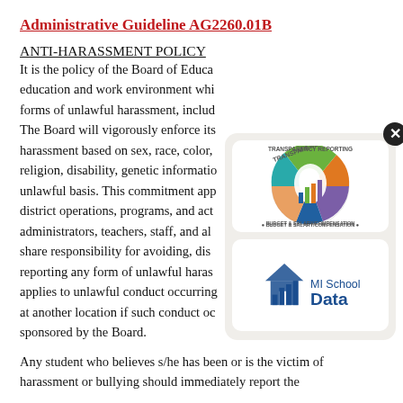Administrative Guideline AG2260.01B
ANTI-HARASSMENT POLICY
It is the policy of the Board of Education education and work environment which forms of unlawful harassment, including The Board will vigorously enforce its harassment based on sex, race, color, religion, disability, genetic information, unlawful basis. This commitment applies to district operations, programs, and activities, administrators, teachers, staff, and all share responsibility for avoiding, discouraging, reporting any form of unlawful harassment. This applies to unlawful conduct occurring at another location if such conduct occurred sponsored by the Board.
[Figure (logo): Transparency Reporting - Budget & Salary/Compensation circular logo featuring Michigan state map with colorful bar chart]
[Figure (logo): MI School Data logo with blue house/bar chart icon and text 'MI School Data']
Any student who believes s/he has been or is the victim of harassment or bullying should immediately report the